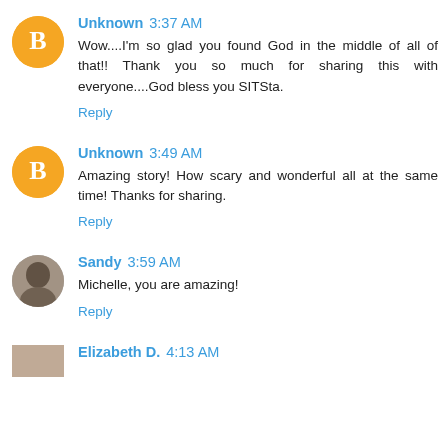Unknown 3:37 AM
Wow....I'm so glad you found God in the middle of all of that!! Thank you so much for sharing this with everyone....God bless you SITSta.
Reply
Unknown 3:49 AM
Amazing story! How scary and wonderful all at the same time! Thanks for sharing.
Reply
Sandy 3:59 AM
Michelle, you are amazing!
Reply
Elizabeth D. 4:13 AM